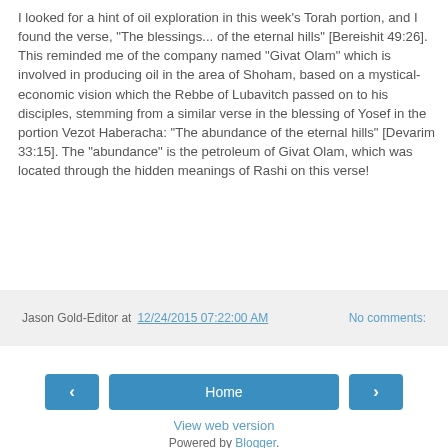I looked for a hint of oil exploration in this week's Torah portion, and I found the verse, "The blessings... of the eternal hills" [Bereishit 49:26]. This reminded me of the company named "Givat Olam" which is involved in producing oil in the area of Shoham, based on a mystical-economic vision which the Rebbe of Lubavitch passed on to his disciples, stemming from a similar verse in the blessing of Yosef in the portion Vezot Haberacha: "The abundance of the eternal hills" [Devarim 33:15]. The "abundance" is the petroleum of Givat Olam, which was located through the hidden meanings of Rashi on this verse!
Jason Gold-Editor at 12/24/2015 07:22:00 AM   No comments:
‹   Home   ›
View web version
Powered by Blogger.